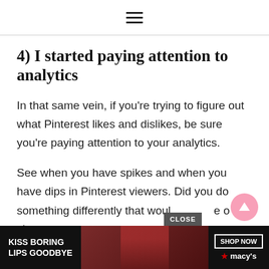≡
4) I started paying attention to analytics
In that same vein, if you're trying to figure out what Pinterest likes and dislikes, be sure you're paying attention to your analytics.
See when you have spikes and when you have dips in Pinterest viewers. Did you do something differently that would cause a change in
[Figure (screenshot): Advertisement banner: 'KISS BORING LIPS GOODBYE' with a woman wearing red lipstick, a SHOP NOW button, and the Macy's logo with star. Overlaid with a CLOSE button and a pink scroll-to-top arrow button.]